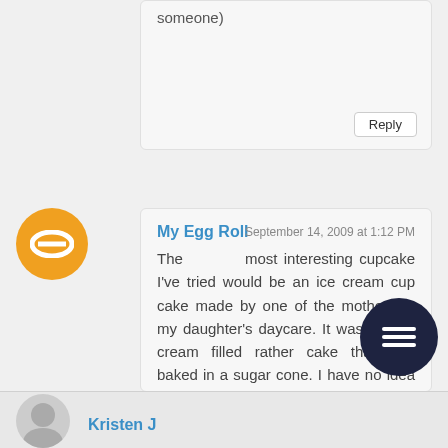someone)
Reply
My Egg Roll
September 14, 2009 at 1:12 PM
The most interesting cupcake I've tried would be an ice cream cup cake made by one of the mothers at my daughter's daycare. It was not ice cream filled rather cake that was baked in a sugar cone. I have no idea how she did it but it was delicious. The presentation was fantastic as it was frosted to look like an ice cream cone
Kristen J